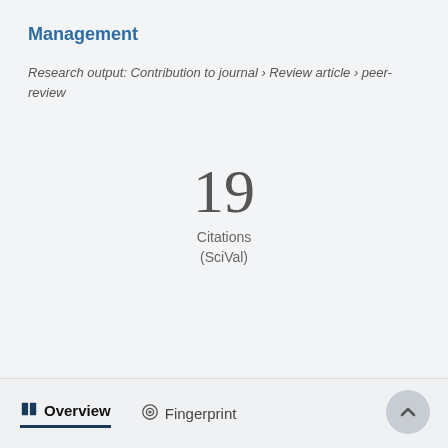Management
Research output: Contribution to journal › Review article › peer-review
19
Citations
(SciVal)
Overview   Fingerprint